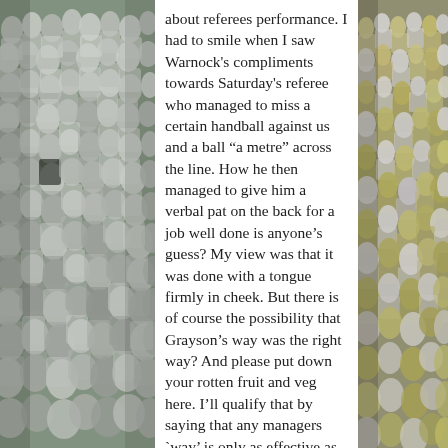[Figure (photo): Crowd of football supporters, mostly wearing white shirts, packed stadium stands, left side photo]
about referees performance. I had to smile when I saw Warnock’s compliments towards Saturday’s referee who managed to miss a certain handball against us and a ball “a metre” across the line. How he then managed to give him a verbal pat on the back for a job well done is anyone’s guess? My view was that it was done with a tongue firmly in cheek. But there is of course the possibility that Grayson’s way was the right way? And please put down your rotten fruit and veg here. I’ll qualify that by saying that any managers `way’ is only as effective as how far it is backed by those above him.

Had Grayson been allowed to pay off
[Figure (photo): Crowd of football supporters with yellow and white shirts, packed stadium stands, right side photo]